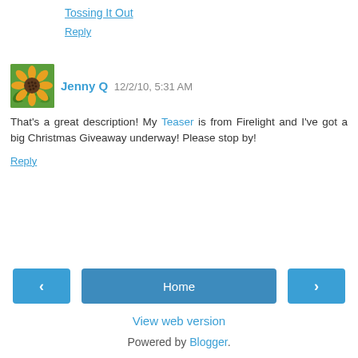Tossing It Out
Reply
Jenny Q  12/2/10, 5:31 AM
That's a great description! My Teaser is from Firelight and I've got a big Christmas Giveaway underway! Please stop by!
Reply
Home
View web version
Powered by Blogger.